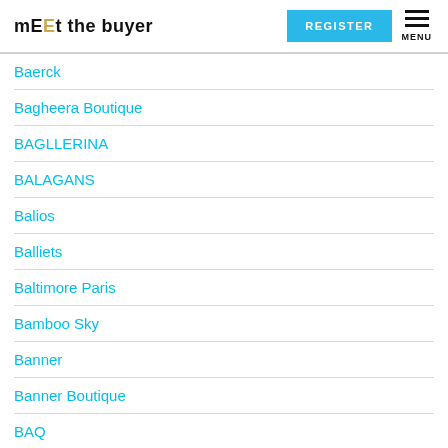mEEt the buyer | REGISTER | MENU
Baerck
Bagheera Boutique
BAGLLERINA
BALAGANS
Balios
Balliets
Baltimore Paris
Bamboo Sky
Banner
Banner Boutique
BAQ
Barbara Jean